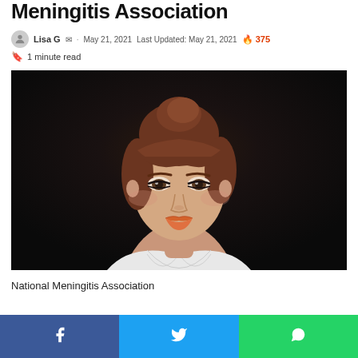Meningitis Association
Lisa G  ·  May 21, 2021  Last Updated: May 21, 2021  🔥 375
1 minute read
[Figure (photo): Portrait photo of a young woman with auburn hair in a bun with bangs, wearing a white V-neck top, against a dark background]
National Meningitis Association
Facebook share · Twitter share · WhatsApp share